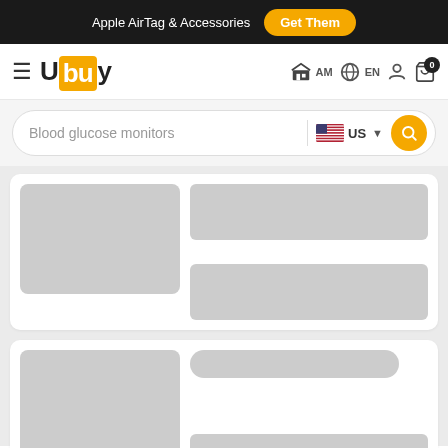Apple AirTag & Accessories  Get Them
[Figure (logo): Ubuy logo with orange background on 'bu' letters]
AM  EN  cart 0
Blood glucose monitors  US  search button
[Figure (screenshot): Loading skeleton placeholder for product card 1 - image and text placeholders in grey]
[Figure (screenshot): Loading skeleton placeholder for product card 2 - image and text placeholders in grey]